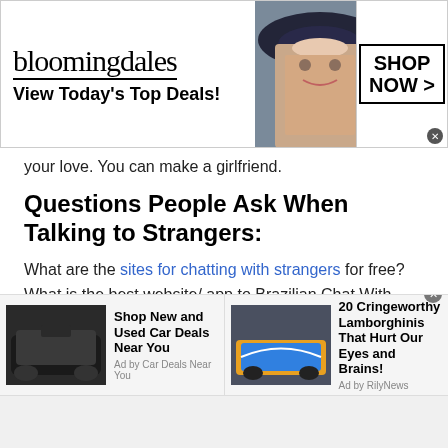[Figure (screenshot): Bloomingdale's advertisement banner: logo, tagline 'View Today's Top Deals!', model in hat, 'SHOP NOW >' button]
your love. You can make a girlfriend.
Questions People Ask When Talking to Strangers:
What are the sites for chatting with strangers for free?
What is the best website/ app to Brazilian Chat With Strangers?
Is it wrong to talk to strangers?
How to talk to a female stranger online?
Are there really any websites to Brazilian Chat With
[Figure (screenshot): Bottom ad bar with two ads: 'Shop New and Used Car Deals Near You' by Car Deals Near You, and '20 Cringeworthy Lamborghinis That Hurt Our Eyes and Brains!' by RilyNews]